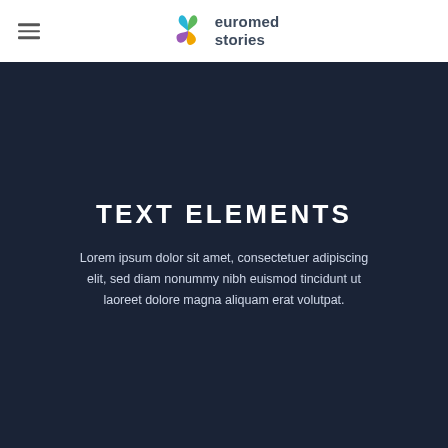[Figure (logo): Euromed Stories logo with colorful swirl icon and text 'euromed stories']
TEXT ELEMENTS
Lorem ipsum dolor sit amet, consectetuer adipiscing elit, sed diam nonummy nibh euismod tincidunt ut laoreet dolore magna aliquam erat volutpat.